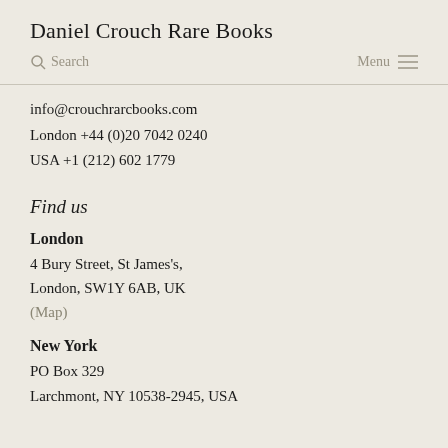Daniel Crouch Rare Books
Search | Menu
info@crouchrarcbooks.com
London +44 (0)20 7042 0240
USA +1 (212) 602 1779
Find us
London
4 Bury Street, St James's,
London, SW1Y 6AB, UK
(Map)
New York
PO Box 329
Larchmont, NY 10538-2945, USA